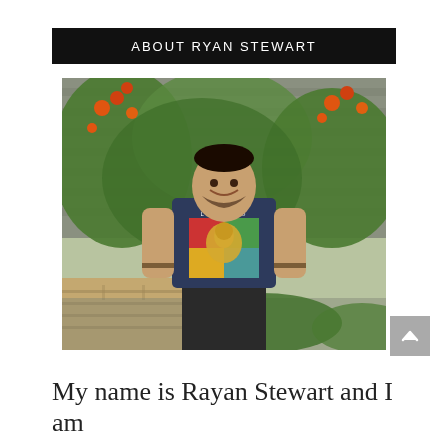ABOUT RYAN STEWART
[Figure (photo): A young man standing outdoors in front of a garden with orange flowers and a wooden fence/wall backdrop. He is smiling and wearing a navy blue t-shirt that reads 'LET IT GO' with a colorful Buddha graphic on it.]
My name is Rayan Stewart and I am